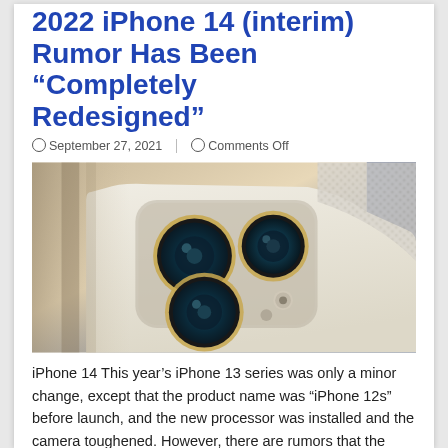2022 iPhone 14 (interim) Rumor Has Been “Completely Redesigned”
September 27, 2021   Comments Off
[Figure (photo): Close-up photo of the back of an iPhone 14 Pro showing the triple-lens camera system with gold trim on a white/cream colored device, with a blurred blue background and a white knit fabric in the upper right.]
iPhone 14 This year’s iPhone 13 series was only a minor change, except that the product name was “iPhone 12s” before launch, and the new processor was installed and the camera toughened. However, there are rumors that the 2022 iPhone 14 (interim) series is expected to be “completely